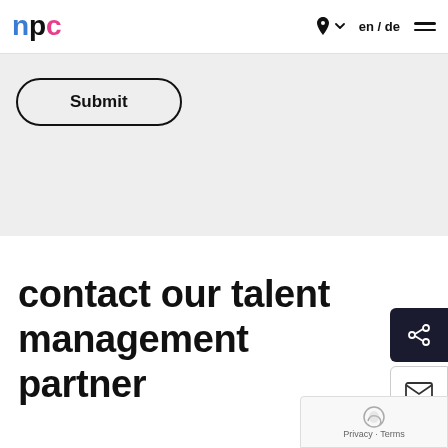[Figure (logo): npc logo with colorful letters in blue, pink, and dark tones]
en / de
[Figure (screenshot): Submit button with rounded border on light gray background]
contact our talent management partner
[Figure (other): Share icon button (dark background) and mail icon button on right side]
Privacy · Terms